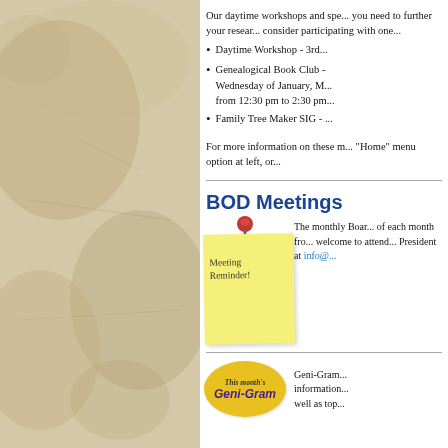Our daytime workshops and spe... you need to further your resear... consider participating with one...
Daytime Workshop - 3rd...
Genealogical Book Club - Wednesday of January, M... from 12:30 pm to 2:30 pm...
Family Tree Maker SIG - ...
For more information on these m... "Home" menu option at left, or...
BOD Meetings
[Figure (illustration): Yellow sticky note with red pushpin and handwritten text 'Meeting Reminder!']
The monthly Boar... of each month fro... welcome to attend... President at info@...
[Figure (illustration): Yellow oval badge labeled 'This month's Geni-Gram']
Geni-Gram... information... well as top...